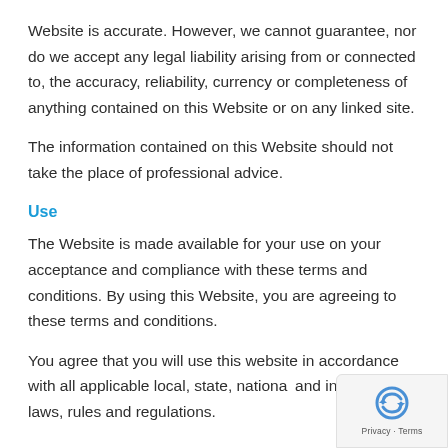Website is accurate.  However, we cannot guarantee, nor do we accept any legal liability arising from or connected to, the accuracy, reliability, currency or completeness of anything contained on this Website or on any linked site.
The information contained on this Website should not take the place of professional advice.
Use
The Website is made available for your use on your acceptance and compliance with these terms and conditions.  By using this Website, you are agreeing to these terms and conditions.
You agree that you will use this website in accordance with all applicable local, state, national and international laws, rules and regulations.